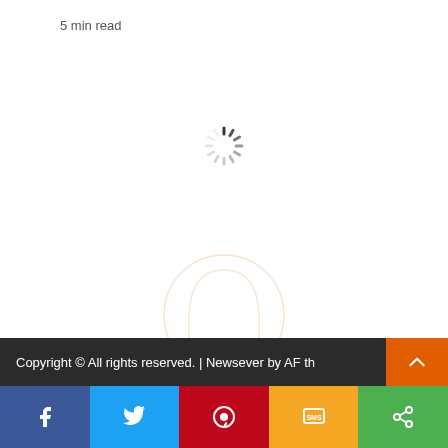5 min read
[Figure (other): Loading spinner (circular progress indicator with dark and light dashes)]
[Figure (other): Ghost/avatar placeholder circle outline in light orange]
INDIE GAMES REVIEWS   NINTENDO SWITCH GAME REVIEWS
Anuchard – Switch Review
May 6, 2022   Badger
Copyright © All rights reserved. | Newsever by AF th